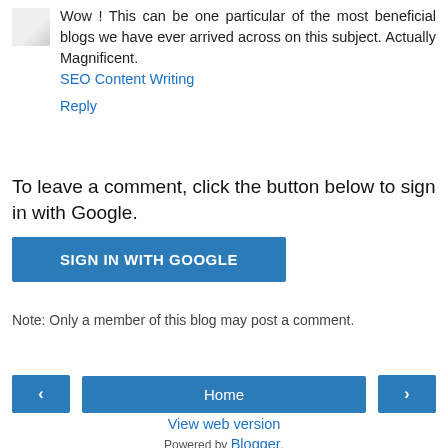Wow ! This can be one particular of the most beneficial blogs we have ever arrived across on this subject. Actually Magnificent.
SEO Content Writing
Reply
To leave a comment, click the button below to sign in with Google.
SIGN IN WITH GOOGLE
Note: Only a member of this blog may post a comment.
‹
Home
›
View web version
Powered by Blogger.